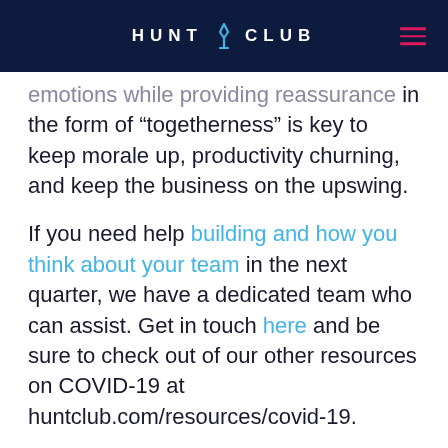HUNT CLUB
emotions while providing reassurance in the form of “togetherness” is key to keep morale up, productivity churning, and keep the business on the upswing.
If you need help building and how you think about your team in the next quarter, we have a dedicated team who can assist. Get in touch here and be sure to check out of our other resources on COVID-19 at huntclub.com/resources/covid-19.
[Figure (logo): Hunt Club logo with icon and text 'Hunt Club' in grey]